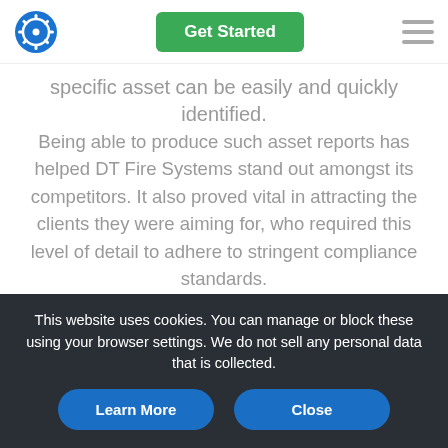Get Started [navigation bar with logo and hamburger menu]
specific asset can be easily and quickly identified.
Being able to produce such asset reports has helped DT Fire Systems stand out amongst its competitors. It also proved vital in attracting the clients they were aiming for, who required this level of detail to adhere to stringent compliance standards.
“I think the confidence came from when we had a large corporate client, that after the first
This website uses cookies. You can manage or block these using your browser settings. We do not sell any personal data that is collected.